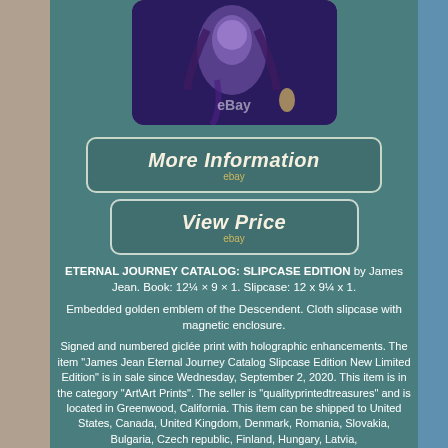[Figure (photo): Product photo of James Jean Eternal Journey Catalog Slipcase Edition book with eBay watermark]
[Figure (other): More Information button with eBay label]
[Figure (other): View Price button with eBay label]
ETERNAL JOURNEY CATALOG: SLIPCASE EDITION by James Jean. Book: 12¼ × 9 × 1. Slipcase: 12 x 9¼ x 1.
Embedded golden emblem of the Descendent. Cloth slipcase with magnetic enclosure.
Signed and numbered giclée print with holographic enhancements. The item "James Jean Eternal Journey Catalog Slipcase Edition New Limited Edition" is in sale since Wednesday, September 2, 2020. This item is in the category "Art\Art Prints". The seller is "qualityprintedtreasures" and is located in Greenwood, California. This item can be shipped to United States, Canada, United Kingdom, Denmark, Romania, Slovakia, Bulgaria, Czech republic, Finland, Hungary, Latvia,